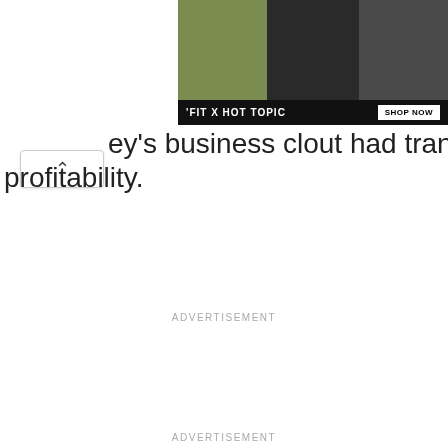[Figure (photo): Advertisement banner for 'FIT x HOT TOPIC' showing three people posing, with a 'SHOP NOW' button. Dark background with stylized fashion imagery.]
ey's business clout had transformed the club's profitability.
ADVERTISEMENT
ADVERTISEMENT